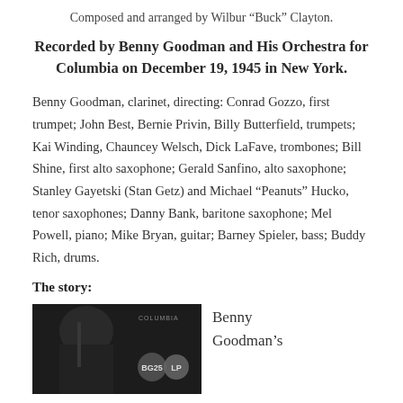Composed and arranged by Wilbur “Buck” Clayton.
Recorded by Benny Goodman and His Orchestra for Columbia on December 19, 1945 in New York.
Benny Goodman, clarinet, directing: Conrad Gozzo, first trumpet; John Best, Bernie Privin, Billy Butterfield, trumpets; Kai Winding, Chauncey Welsch, Dick LaFave, trombones; Bill Shine, first alto saxophone; Gerald Sanfino, alto saxophone; Stanley Gayetski (Stan Getz) and Michael “Peanuts” Hucko, tenor saxophones; Danny Bank, baritone saxophone; Mel Powell, piano; Mike Bryan, guitar; Barney Spieler, bass; Buddy Rich, drums.
The story:
[Figure (photo): Black and white album cover photo showing Benny Goodman, with Columbia BG25 LP logo overlay]
Benny Goodman’s